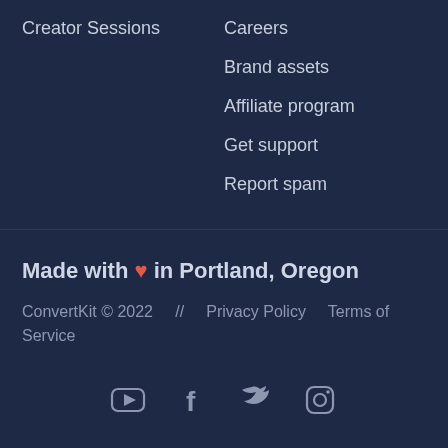Creator Sessions
Careers
Brand assets
Affiliate program
Get support
Report spam
Made with ♥ in Portland, Oregon
ConvertKit © 2022    //    Privacy Policy    Terms of Service
[Figure (illustration): Social media icons: YouTube, Facebook, Twitter, Instagram]